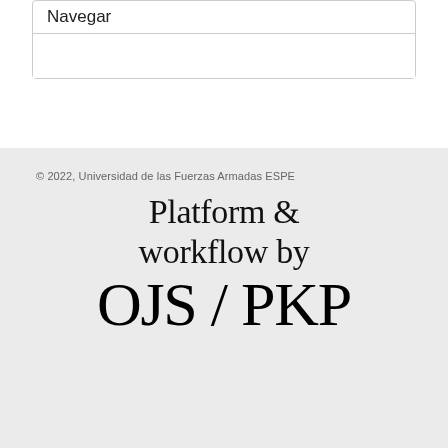Navegar
© 2022, Universidad de las Fuerzas Armadas ESPE
[Figure (logo): OJS/PKP platform and workflow logo with text 'Platform & workflow by OJS / PKP']